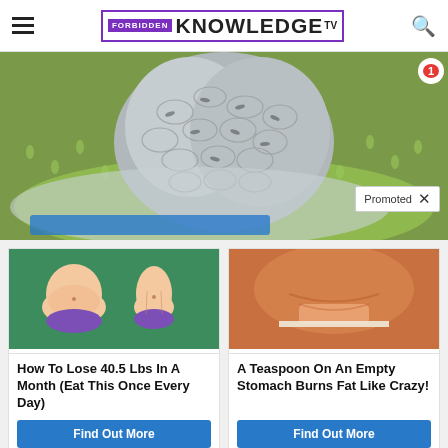FORBIDDEN KNOWLEDGE TV
[Figure (photo): Close-up photo of a green melon with seeds visible in a colander, hero image of article page]
Promoted X
[Figure (photo): Illustration of two female figures showing before/after weight loss in bikini]
[Figure (photo): Photo of woman's midsection showing belly fat]
How To Lose 40.5 Lbs In A Month (Eat This Once Every Day)
A Teaspoon On An Empty Stomach Burns Fat Like Crazy!
Find Out More
Find Out More